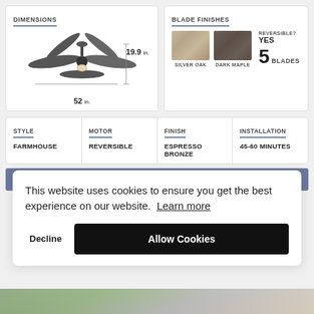DIMENSIONS
[Figure (illustration): Ceiling fan with 5 blades shown from front, with dimensions 52 in. width and 19.9 in. height indicated]
BLADE FINISHES
[Figure (illustration): Two blade finish swatches: Silver Oak (light wood grain) and Dark Maple (dark brown). Reversible: YES. 5 BLADES.]
| STYLE | MOTOR | FINISH | INSTALLATION |
| --- | --- | --- | --- |
| FARMHOUSE | REVERSIBLE | ESPRESSO BRONZE | 45-60 MINUTES |
[Figure (logo): Prominence Home brand bar with logo and text]
This website uses cookies to ensure you get the best experience on our website. Learn more
Decline   Allow Cookies